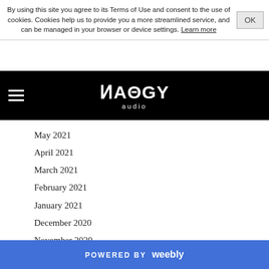By using this site you agree to its Terms of Use and consent to the use of cookies. Cookies help us to provide you a more streamlined service, and can be managed in your browser or device settings. Learn more
[Figure (logo): Chaos Audio logo with stylized gothic lettering and 'audio' subtitle on black navigation bar]
May 2021
April 2021
March 2021
February 2021
January 2021
December 2020
November 2020
October 2020
September 2020
August 2020
July 2020
June 2020
POWERED BY weebly